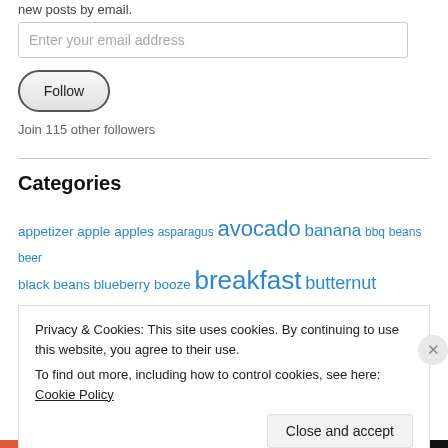new posts by email.
Enter your email address
Follow
Join 115 other followers
Categories
appetizer apple apples asparagus avocado banana bbq beans beer
black beans blueberry booze breakfast butternut
Privacy & Cookies: This site uses cookies. By continuing to use this website, you agree to their use. To find out more, including how to control cookies, see here: Cookie Policy
Close and accept